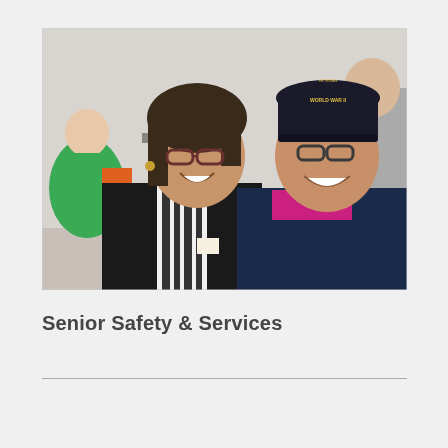[Figure (photo): Two smiling people posing together indoors. On the left is a woman with dark hair, glasses, and a black-and-white patterned scarf over a black top. On the right is an elderly man wearing a navy blue jacket, a pink polo shirt, and a dark baseball cap that reads 'WORLD WAR II VETERAN'. Several other people are visible in the background.]
Senior Safety & Services